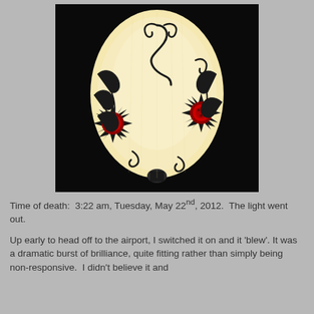[Figure (photo): A decorated egg (pysanka) illuminated from within against a black background. The egg is cream/yellow-white and decorated with black swirling vine patterns and two red flower/sunflower motifs on either side.]
Time of death:  3:22 am, Tuesday, May 22nd, 2012.  The light went out.
Up early to head off to the airport, I switched it on and it 'blew'. It was a dramatic burst of brilliance, quite fitting rather than simply being non-responsive.  I didn't believe it and